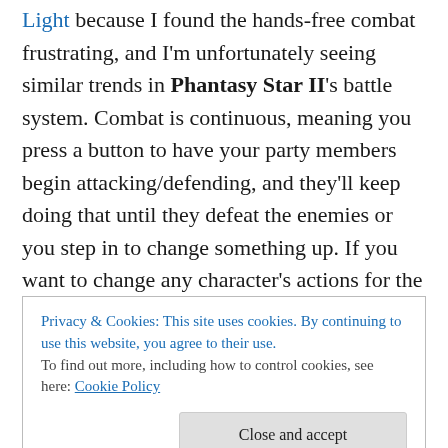Light because I found the hands-free combat frustrating, and I'm unfortunately seeing similar trends in Phantasy Star II's battle system. Combat is continuous, meaning you press a button to have your party members begin attacking/defending, and they'll keep doing that until they defeat the enemies or you step in to change something up. If you want to change any character's actions for the next round, all you have to do is press a button before the current round ends. Right now, Rolf is my main attacker, and Nei handles healing and being a tank, taking a lot of damage. Thanks to writing this post and doing some light
Privacy & Cookies: This site uses cookies. By continuing to use this website, you agree to their use.
To find out more, including how to control cookies, see here: Cookie Policy
[Close and accept]
my brain and looping for hours. The two tracks I'm loving